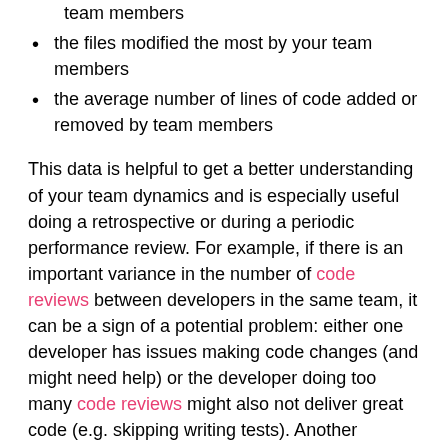team members
the files modified the most by your team members
the average number of lines of code added or removed by team members
This data is helpful to get a better understanding of your team dynamics and is especially useful doing a retrospective or during a periodic performance review. For example, if there is an important variance in the number of code reviews between developers in the same team, it can be a sign of a potential problem: either one developer has issues making code changes (and might need help) or the developer doing too many code reviews might also not deliver great code (e.g. skipping writing tests). Another example is related to the files being modified: if the same files are modified by all team members, it might surface architectural or design issues (such as a god class that is used by too many classes or functions).